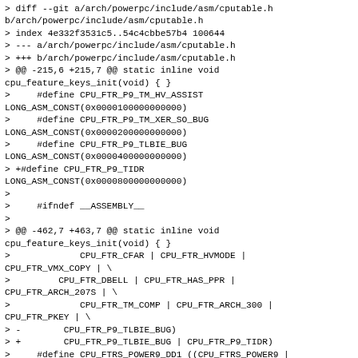> diff --git a/arch/powerpc/include/asm/cputable.h b/arch/powerpc/include/asm/cputable.h
> index 4e332f3531c5..54c4cbbe57b4 100644
> --- a/arch/powerpc/include/asm/cputable.h
> +++ b/arch/powerpc/include/asm/cputable.h
> @@ -215,6 +215,7 @@ static inline void cpu_feature_keys_init(void) { }
>     #define CPU_FTR_P9_TM_HV_ASSIST LONG_ASM_CONST(0x0000100000000000)
>     #define CPU_FTR_P9_TM_XER_SO_BUG LONG_ASM_CONST(0x0000200000000000)
>     #define CPU_FTR_P9_TLBIE_BUG LONG_ASM_CONST(0x0000400000000000)
> +#define CPU_FTR_P9_TIDR LONG_ASM_CONST(0x0000800000000000)
> 
>     #ifndef __ASSEMBLY__
> 
> @@ -462,7 +463,7 @@ static inline void cpu_feature_keys_init(void) { }
>             CPU_FTR_CFAR | CPU_FTR_HVMODE | CPU_FTR_VMX_COPY | \
>         CPU_FTR_DBELL | CPU_FTR_HAS_PPR | CPU_FTR_ARCH_207S | \
>             CPU_FTR_TM_COMP | CPU_FTR_ARCH_300 | CPU_FTR_PKEY | \
> -        CPU_FTR_P9_TLBIE_BUG)
> +        CPU_FTR_P9_TLBIE_BUG | CPU_FTR_P9_TIDR)
>     #define CPU_FTRS_POWER9_DD1 ((CPU_FTRS_POWER9 | CPU_FTR_POWER9_DD1) & \
>